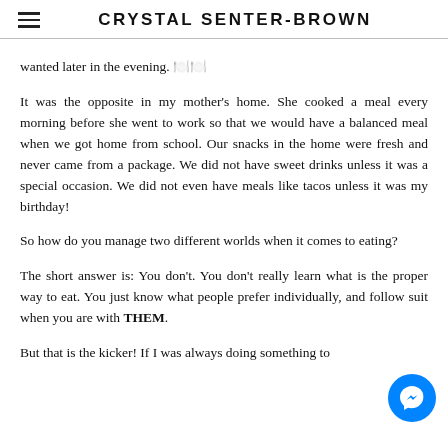CRYSTAL SENTER-BROWN
wanted later in the evening. 🍽️🍽️
It was the opposite in my mother’s home. She cooked a meal every morning before she went to work so that we would have a balanced meal when we got home from school. Our snacks in the home were fresh and never came from a package. We did not have sweet drinks unless it was a special occasion. We did not even have meals like tacos unless it was my birthday!
So how do you manage two different worlds when it comes to eating?
The short answer is: You don’t. You don’t really learn what is the proper way to eat. You just know what people prefer individually, and follow suit when you are with THEM.
But that is the kicker! If I was always doing something to